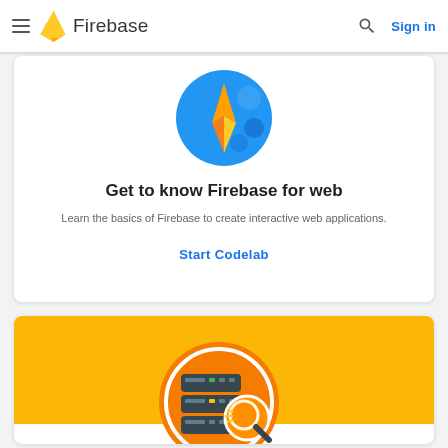Firebase
Get to know Firebase for web
Learn the basics of Firebase to create interactive web applications.
Start Codelab
[Figure (illustration): Firebase for web codelab card with yellow/orange banner and database server illustration with magnifying glass]